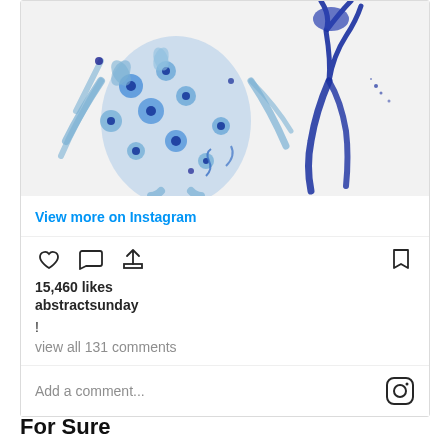[Figure (illustration): Watercolor illustration of a blue floral figure/costume on a light grey background, cropped at top of card]
View more on Instagram
[Figure (infographic): Instagram action icons: heart (like), comment bubble, share arrow, and bookmark]
15,460 likes
abstractsunday
!
view all 131 comments
Add a comment...
For Sure